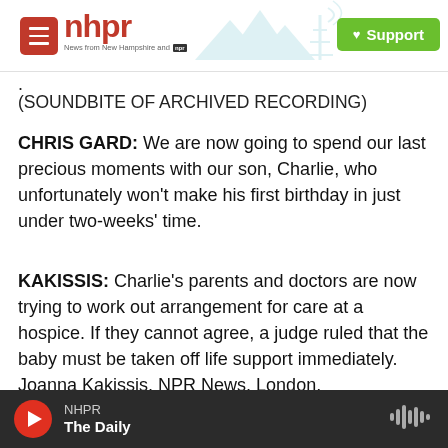nhpr — News from New Hampshire and NPR | Support
.
(SOUNDBITE OF ARCHIVED RECORDING)
CHRIS GARD: We are now going to spend our last precious moments with our son, Charlie, who unfortunately won't make his first birthday in just under two-weeks' time.
KAKISSIS: Charlie's parents and doctors are now trying to work out arrangement for care at a hospice. If they cannot agree, a judge ruled that the baby must be taken off life support immediately. Joanna Kakissis, NPR News, London.
NHPR — The Daily